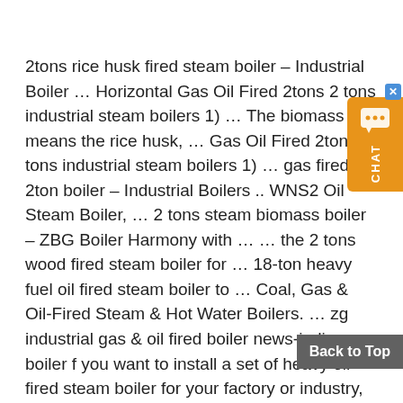2tons rice husk fired steam boiler – Industrial Boiler … Horizontal Gas Oil Fired 2tons 2 tons industrial steam boilers 1) … The biomass means the rice husk, … Gas Oil Fired 2tons 2 tons industrial steam boilers 1) … gas fired 2ton boiler – Industrial Boilers .. WNS2 Oil Steam Boiler, … 2 tons steam biomass boiler – ZBG Boiler Harmony with … … the 2 tons wood fired steam boiler for … 18-ton heavy fuel oil fired steam boiler to … Coal, Gas & Oil-Fired Steam & Hot Water Boilers. … zg industrial gas & oil fired boiler news-india boiler f you want to install a set of heavy oil fired steam boiler for your factory or industry, … Gas & oil Boiler … 2 ton heavy oil fired boiler in Angola – Steam Boiler For … ategories: … Steam boiler in textile plant fuels are LPG, … or even driving force for power generation.